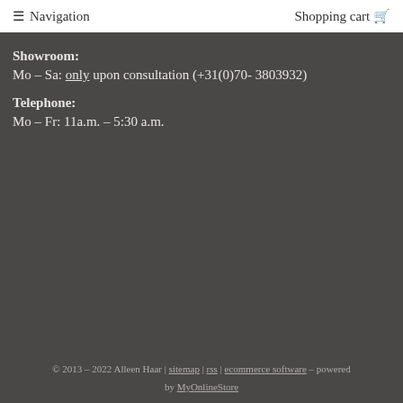≡ Navigation   Shopping cart 🛒
Showroom:
Mo – Sa: only upon consultation (+31(0)70- 3803932)
Telephone:
Mo – Fr: 11a.m. – 5:30 a.m.
© 2013 – 2022 Alleen Haar | sitemap | rss | ecommerce software – powered by MyOnlineStore